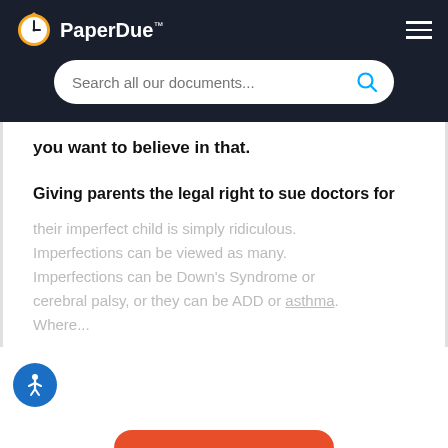[Figure (logo): PaperDue logo with clock icon and search bar on dark background]
you want to believe in that.
Giving parents the legal right to sue doctors for
their imperfect child is simply ridiculous. Imperfections can be viewed as many. Imperfections can be Down's Syndrome or cerebral palsy, or they can be ADD or asthma. Where...